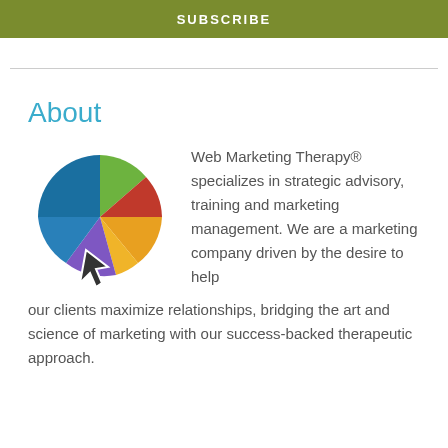SUBSCRIBE
About
[Figure (logo): Web Marketing Therapy logo: colorful pie-chart style brain/head with a cursor arrow]
Web Marketing Therapy® specializes in strategic advisory, training and marketing management. We are a marketing company driven by the desire to help our clients maximize relationships, bridging the art and science of marketing with our success-backed therapeutic approach.